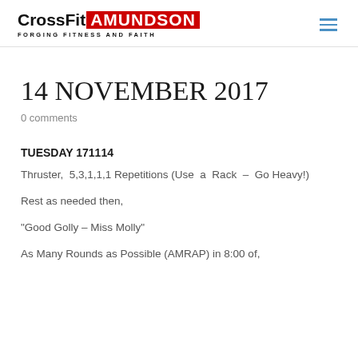CrossFit AMUNDSON — FORGING FITNESS AND FAITH
14 NOVEMBER 2017
0 comments
TUESDAY 171114
Thruster, 5,3,1,1,1 Repetitions (Use a Rack – Go Heavy!)
Rest as needed then,
“Good Golly – Miss Molly”
As Many Rounds as Possible (AMRAP) in 8:00 of,